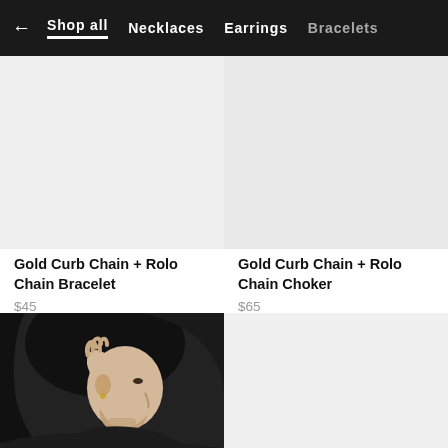← Shop all   Necklaces   Earrings   Bracelets
[Figure (photo): Light gray product image placeholder for Gold Curb Chain + Rolo Chain Bracelet]
Gold Curb Chain + Rolo Chain Bracelet
$45
[Figure (photo): Light gray product image placeholder for Gold Curb Chain + Rolo Chain Choker]
Gold Curb Chain + Rolo Chain Choker
$65
[Figure (photo): Photo of a woman with dark hair touching her ear, viewed from the side, wearing jewelry]
[Figure (photo): Light gray product image placeholder (bottom right)]